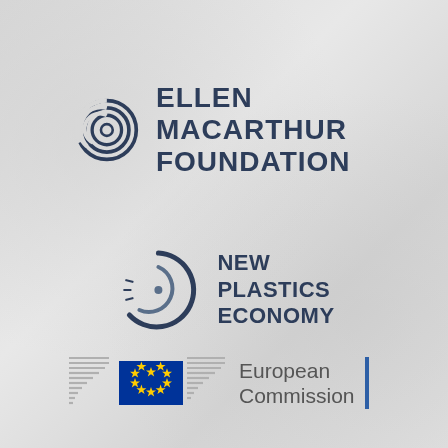[Figure (logo): Ellen MacArthur Foundation logo: concentric spiral circles icon in dark navy blue, followed by bold uppercase text 'ELLEN MACARTHUR FOUNDATION']
[Figure (logo): New Plastics Economy logo: stylized circular arc with inner arc and dot icon in dark navy, followed by bold uppercase text 'NEW PLASTICS ECONOMY']
[Figure (logo): European Commission logo: EU flag (blue rectangle with yellow stars circle) with decorative horizontal lines graphic, followed by text 'European Commission' and a vertical blue bar]